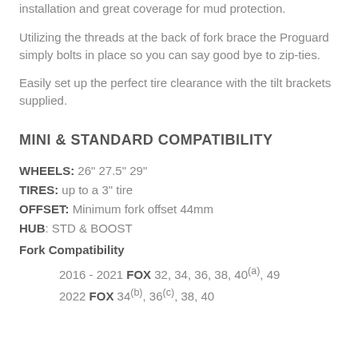installation and great coverage for mud protection.
Utilizing the threads at the back of fork brace the Proguard simply bolts in place so you can say good bye to zip-ties.
Easily set up the perfect tire clearance with the tilt brackets supplied.
MINI & STANDARD COMPATIBILITY
WHEELS: 26" 27.5" 29"
TIRES: up to a 3" tire
OFFSET: Minimum fork offset 44mm
HUB: STD & BOOST
Fork Compatibility
2016 - 2021 FOX 32, 34, 36, 38, 40(a), 49
2022 FOX 34(b), 36(c), 38, 40